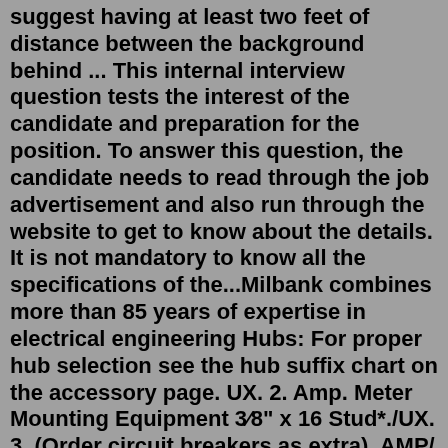suggest having at least two feet of distance between the background behind ... This internal interview question tests the interest of the candidate and preparation for the position. To answer this question, the candidate needs to read through the job advertisement and also run through the website to get to know about the details. It is not mandatory to know all the specifications of the...Milbank combines more than 85 years of expertise in electrical engineering Hubs: For proper hub selection see the hub suffix chart on the accessory page. UX. 2. Amp. Meter Mounting Equipment 3⁄8" x 16 Stud*./UX. 3. (Order circuit breakers as extra). AMP/ UX. May 25, 2022 · I magine if, last December, Boris Johnson had announced that he was ordering an official investigation into alleged ...Don't Let These Common Interview Questions Trip You Up. What are interviewers really looking for when they ask questions like "What are your strengths and weaknesses?" Carla Harris, Morgan Stanley Vice Chairwoman, reveals the subtext.Preparing for a job